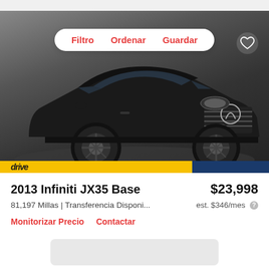[Figure (screenshot): Car listing app screenshot showing a black 2013 Infiniti JX35 Base SUV with filter/sort/save pill navigation and heart icon overlay]
2013 Infiniti JX35 Base
$23,998
81,197 Millas | Transferencia Disponi...
est. $346/mes
Monitorizar Precio    Contactar